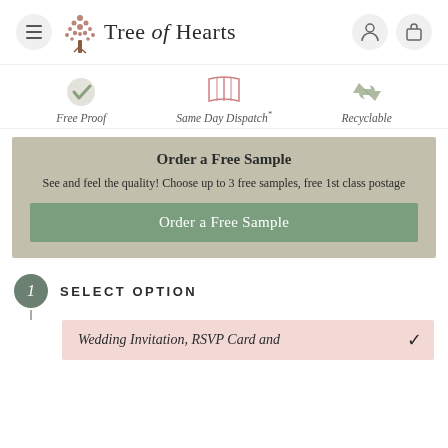[Figure (logo): Tree of Hearts logo with tree icon and brand name]
[Figure (infographic): Three feature icons: checkmark (Free Proof), open book (Same Day Dispatch*), recycle arrows (Recyclable)]
Free Proof
Same Day Dispatch*
Recyclable
Order a Free Sample
See and feel the quality! Choose up to 3 free samples, free 1st class postage
Order a Free Sample
SELECT OPTION
Wedding Invitation, RSVP Card and